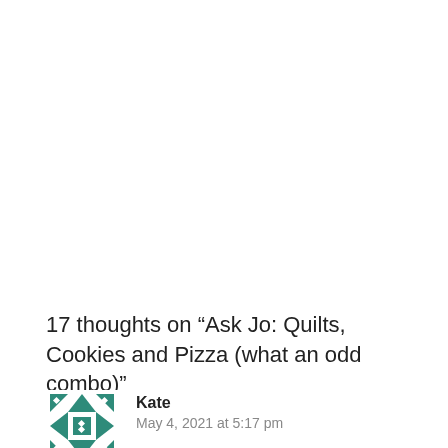17 thoughts on “Ask Jo: Quilts, Cookies and Pizza (what an odd combo)”
Kate
May 4, 2021 at 5:17 pm